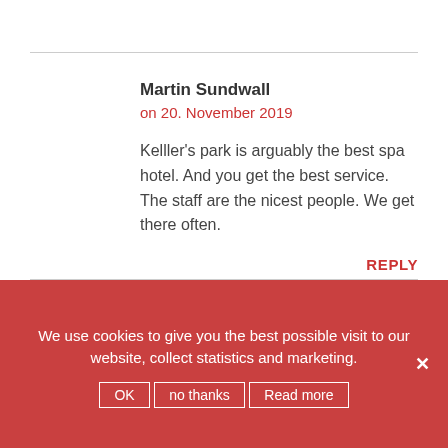Martin Sundwall
on 20. November 2019
Kelller's park is arguably the best spa hotel. And you get the best service. The staff are the nicest people. We get there often.
REPLY
We use cookies to give you the best possible visit to our website, collect statistics and marketing.
OK | no thanks | Read more